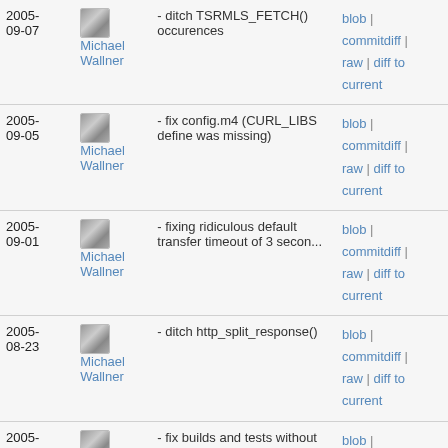| Date | Author | Message | Links |
| --- | --- | --- | --- |
| 2005-09-07 | Michael Wallner | - ditch TSRMLS_FETCH() occurences | blob | commitdiff | raw | diff to current |
| 2005-09-05 | Michael Wallner | - fix config.m4 (CURL_LIBS define was missing) | blob | commitdiff | raw | diff to current |
| 2005-09-01 | Michael Wallner | - fixing ridiculous default transfer timeout of 3 secon... | blob | commitdiff | raw | diff to current |
| 2005-08-23 | Michael Wallner | - ditch http_split_response() | blob | commitdiff | raw | diff to current |
| 2005-08-03 | Michael Wallner | - fix builds and tests without libcurl linked in | blob | commitdiff | raw | diff to current |
| 2005- | Michael Wallner | - curl cannot use zend mm | blob | |